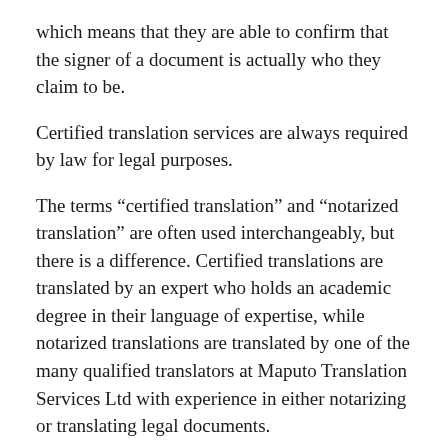which means that they are able to confirm that the signer of a document is actually who they claim to be.
Certified translation services are always required by law for legal purposes.
The terms “certified translation” and “notarized translation” are often used interchangeably, but there is a difference. Certified translations are translated by an expert who holds an academic degree in their language of expertise, while notarized translations are translated by one of the many qualified translators at Maputo Translation Services Ltd with experience in either notarizing or translating legal documents.
Notarized translation: It is a process in which a notary public or other authorized official certifies the accuracy of a translated document. This ensures that the document’s contents have been translated accurately and completely to